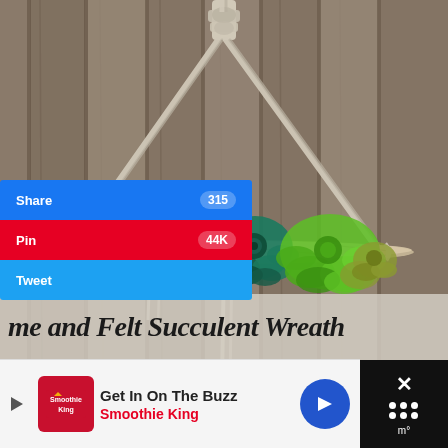[Figure (photo): A macrame wall hanging with a triangular rope design suspended from a knotted top, draped over a weathered birch branch. Green felt succulents in various shades (dark teal, bright green, olive) are arranged along the branch. The background is a rustic wood-plank fence.]
me and Felt Succulent Wreath
[Figure (infographic): Social share buttons: blue Share button with count 315, red Pin button with count 44K, light blue Tweet button]
[Figure (infographic): Advertisement bar: Get In On The Buzz - Smoothie King ad with logo, headline text, and blue directional arrow button]